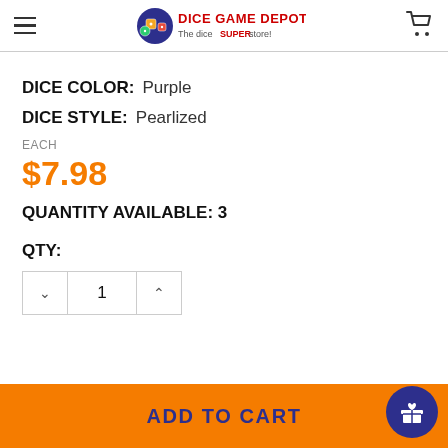Dice Game Depot — The dice SUPERstore!
DICE COLOR: Purple
DICE STYLE: Pearlized
EACH
$7.98
QUANTITY AVAILABLE: 3
QTY:
1
ADD TO CART